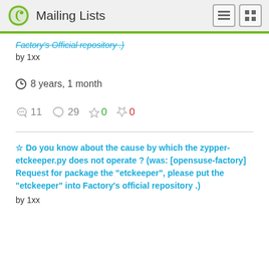Mailing Lists
Factory's Official repository .) by 1xx
8 years, 1 month
11  29  0  0
Do you know about the cause by which the zypper-etckeeper.py does not operate ? (was: [opensuse-factory] Request for package the "etckeeper", please put the "etckeeper" into Factory's official repository .) by 1xx